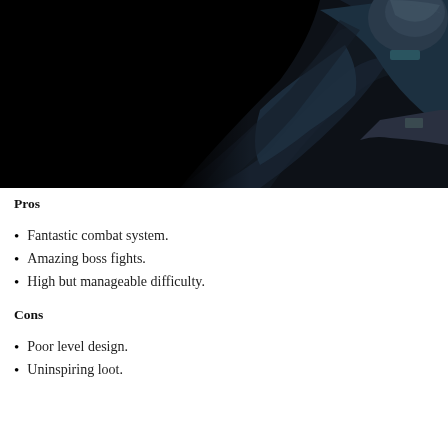[Figure (photo): Dark fantasy game character in dark armor with a cape and helmet, standing against a black background. The figure appears to be from a video game, shown from roughly the torso up, wearing ornate dark leather/metal armor.]
Pros
Fantastic combat system.
Amazing boss fights.
High but manageable difficulty.
Cons
Poor level design.
Uninspiring loot.